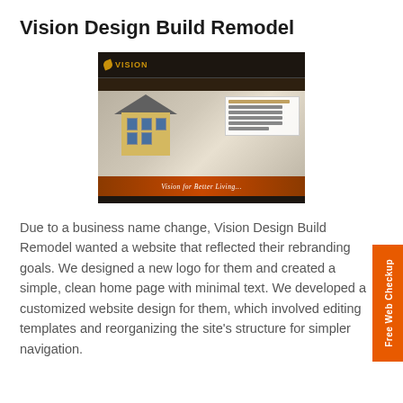Vision Design Build Remodel
[Figure (screenshot): Screenshot of Vision Design Build Remodel website showing a dark header with Vision logo, a house illustration on blueprint background, an orange banner reading 'Vision for Better Living...', and contact info footer.]
Due to a business name change, Vision Design Build Remodel wanted a website that reflected their rebranding goals. We designed a new logo for them and created a simple, clean home page with minimal text. We developed a customized website design for them, which involved editing templates and reorganizing the site's structure for simpler navigation.